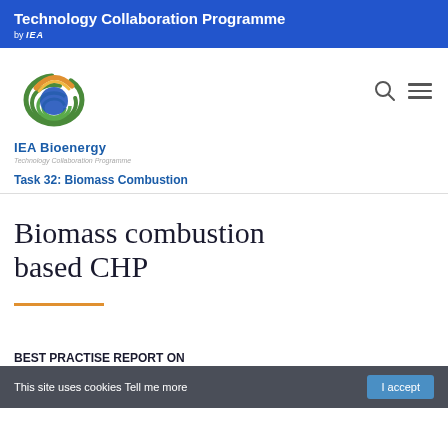Technology Collaboration Programme by IEA
[Figure (logo): IEA Bioenergy Technology Collaboration Programme circular logo with green and blue swirls]
Task 32: Biomass Combustion
Biomass combustion based CHP
This site uses cookies Tell me more  |  I accept
BEST PRACTISE REPORT ON